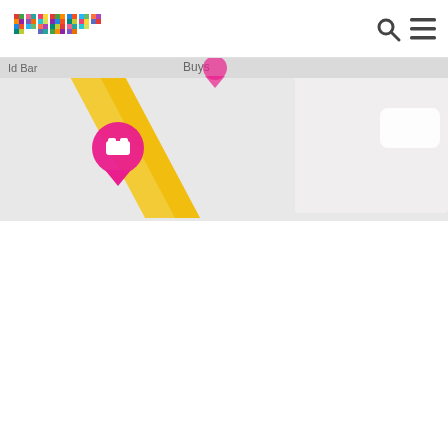primer
[Figure (map): A partial Google Maps screenshot showing a map with a pink hotel location marker labeled 'Hotel Tagavtav', diagonal yellow road (Buys), and surrounding streets. The map is cropped/partially visible.]